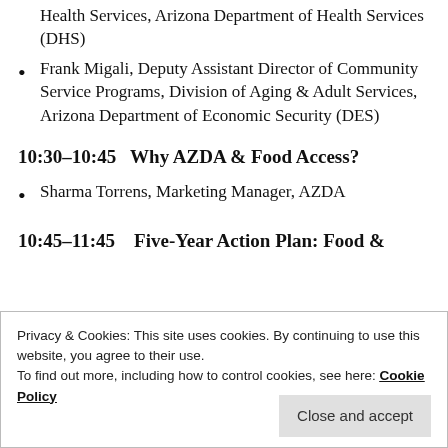Health Services, Arizona Department of Health Services (DHS)
Frank Migali, Deputy Assistant Director of Community Service Programs, Division of Aging & Adult Services, Arizona Department of Economic Security (DES)
10:30–10:45   Why AZDA & Food Access?
Sharma Torrens, Marketing Manager, AZDA
10:45–11:45    Five-Year Action Plan: Food &
Privacy & Cookies: This site uses cookies. By continuing to use this website, you agree to their use. To find out more, including how to control cookies, see here: Cookie Policy